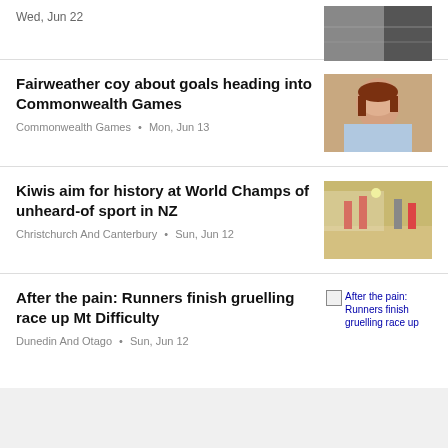Wed, Jun 22
[Figure (photo): Partial photo cropped at top right]
Fairweather coy about goals heading into Commonwealth Games
Commonwealth Games • Mon, Jun 13
[Figure (photo): Young woman at swimming pool]
Kiwis aim for history at World Champs of unheard-of sport in NZ
Christchurch And Canterbury • Sun, Jun 12
[Figure (photo): Beach volleyball or similar sport players jumping]
After the pain: Runners finish gruelling race up Mt Difficulty
Dunedin And Otago • Sun, Jun 12
[Figure (photo): Broken image placeholder: After the pain: Runners finish gruelling race up]